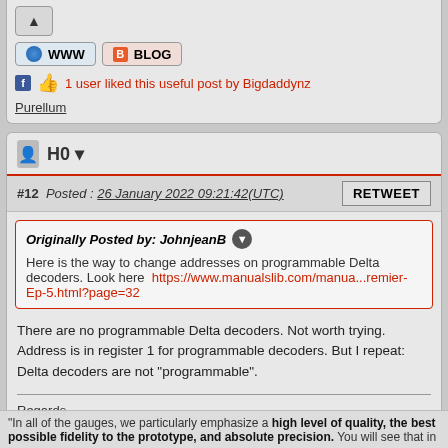▲ | 🌐 WWW | B BLOG
1 user liked this useful post by Bigdaddynz
Purellum
H0
#12  Posted : 26 January 2022 09:21:42(UTC)
Originally Posted by: JohnjeanB
Here is the way to change addresses on programmable Delta decoders. Look here  https://www.manualslib.com/manua...remier-Ep-5.html?page=32
There are no programmable Delta decoders. Not worth trying. Address is in register 1 for programmable decoders. But I repeat: Delta decoders are not "programmable".
Regards
Tom
---
"In all of the gauges, we particularly emphasize a high level of quality, the best possible fidelity to the prototype, and absolute precision. You will see that in